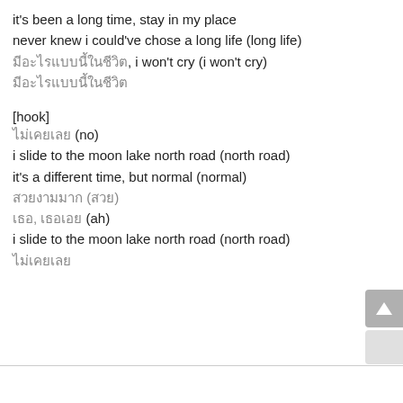it's been a long time, stay in my place
never knew i could've chose a long life (long life)
มีอะไรแบบนี้ในชีวิต, i won't cry (i won't cry)
มีอะไรแบบนี้ในชีวิต
[hook]
ไม่เคยเลย (no)
i slide to the moon lake north road (north road)
it's a different time, but normal (normal)
สวยงามมาก (สวย)
เธอ, เธอเอย (ah)
i slide to the moon lake north road (north road)
ไม่เคยเลย